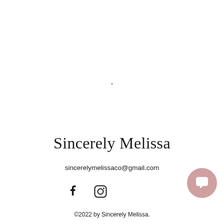Sincerely Melissa
sincerelymelissaco@gmail.com
[Figure (illustration): Facebook and Instagram social media icons displayed as black symbols]
[Figure (illustration): Pink/mauve circular chat button with speech bubble icon]
©2022 by Sincerely Melissa.